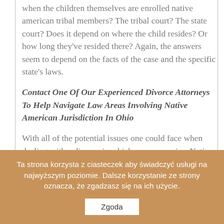when the children themselves are enrolled native american tribal members? The tribal court? The state court? Does it depend on where the child resides? Or how long they've resided there? Again, the answers seem to depend on the facts of the case and the specific state's laws.
Contact One Of Our Experienced Divorce Attorneys To Help Navigate Law Areas Involving Native American Jurisdiction In Ohio
With all of the potential issues one could face when dealing with a divorce in which one spouse is a Native American, it is best to seek professional advice from an attorney who can help you navigate
Ta strona korzysta z ciasteczek aby świadczyć usługi na najwyższym poziomie. Dalsze korzystanie ze strony oznacza, że zgadzasz się na ich użycie.
Zgoda